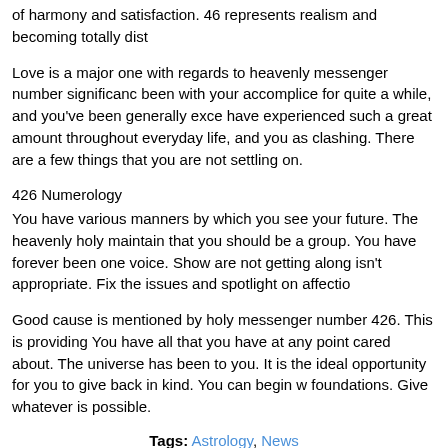of harmony and satisfaction. 46 represents realism and becoming totally dist
Love is a major one with regards to heavenly messenger number significanc been with your accomplice for quite a while, and you've been generally exce have experienced such a great amount throughout everyday life, and you as clashing. There are a few things that you are not settling on.
426 Numerology
You have various manners by which you see your future. The heavenly holy maintain that you should be a group. You have forever been one voice. Show are not getting along isn't appropriate. Fix the issues and spotlight on affectio
Good cause is mentioned by holy messenger number 426. This is providing You have all that you have at any point cared about. The universe has been to you. It is the ideal opportunity for you to give back in kind. You can begin w foundations. Give whatever is possible.
Tags: Astrology, News
0 Comments
Home || Logout